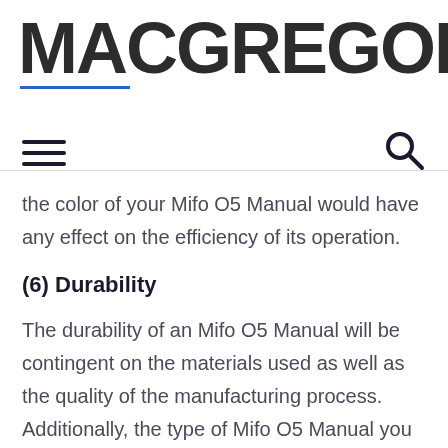MACGREGOR26
the color of your Mifo O5 Manual would have any effect on the efficiency of its operation.
(6) Durability
The durability of an Mifo O5 Manual will be contingent on the materials used as well as the quality of the manufacturing process. Additionally, the type of Mifo O5 Manual you purchase may affect its durability.